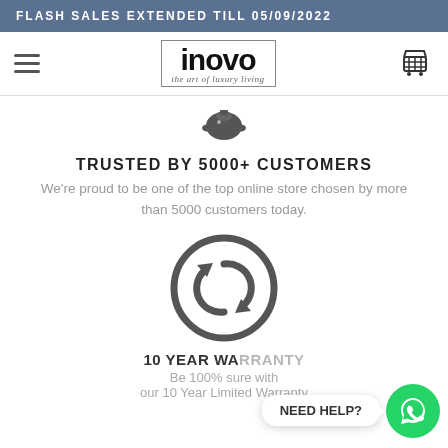FLASH SALES EXTENDED TILL 05/09/2022
[Figure (logo): INOVO - the art of luxury living logo with hamburger menu and cart icon]
[Figure (illustration): Piggy bank icon]
TRUSTED BY 5000+ CUSTOMERS
We're proud to be one of the top online store chosen by more than 5000 customers today.
[Figure (illustration): Circular refresh/warranty icon]
10 YEAR WARRANTY
Be 100% sure with our 10 Year Limited Warranty
NEED HELP?